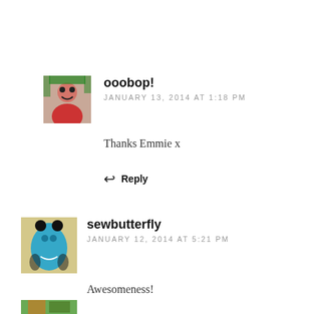ooobop!
JANUARY 13, 2014 AT 1:18 PM
Thanks Emmie x
Reply
sewbutterfly
JANUARY 12, 2014 AT 5:21 PM
Awesomeness!
Reply